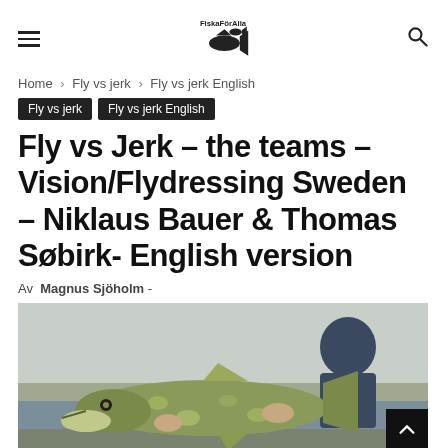FiskaFörAlla logo with hamburger menu and search icon
Home › Fly vs jerk › Fly vs jerk English
Fly vs jerk | Fly vs jerk English
Fly vs Jerk – the teams – Vision/Flydressing Sweden – Niklaus Bauer & Thomas Søbirk- English version
Av Magnus Sjöholm -
[Figure (photo): A person holding a large pike fish on a boat, with water and shoreline in the background.]